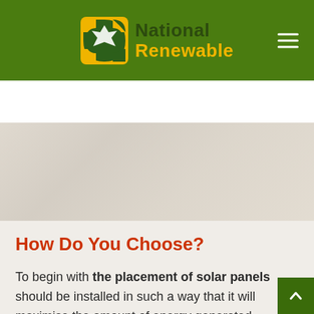[Figure (logo): National Renewable logo with green and yellow icon and text in header bar]
How Do You Choose?
To begin with the placement of solar panels should be installed in such a way that it will maximise the amount of energy generated